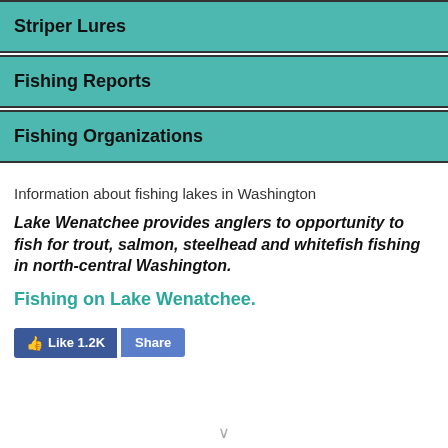Striper Lures
Fishing Reports
Fishing Organizations
Information about fishing lakes in Washington
Lake Wenatchee provides anglers to opportunity to fish for trout, salmon, steelhead and whitefish fishing in north-central Washington.
Fishing on Lake Wenatchee.
Like 1.2K  Share